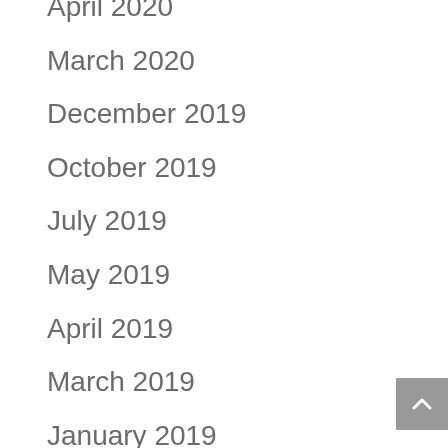April 2020
March 2020
December 2019
October 2019
July 2019
May 2019
April 2019
March 2019
January 2019